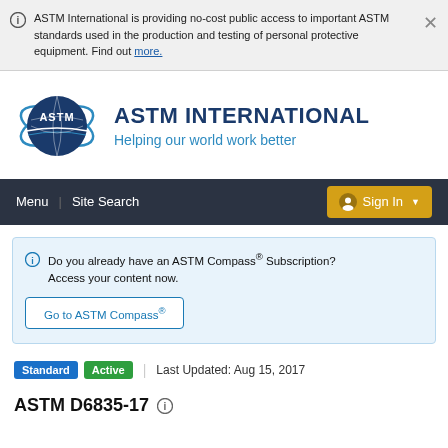ASTM International is providing no-cost public access to important ASTM standards used in the production and testing of personal protective equipment. Find out more.
[Figure (logo): ASTM International logo with globe graphic on the left and text 'ASTM INTERNATIONAL / Helping our world work better' on the right]
Menu | Site Search   Sign In
Do you already have an ASTM Compass® Subscription? Access your content now. Go to ASTM Compass®
Standard   Active   |   Last Updated: Aug 15, 2017
ASTM D6835-17